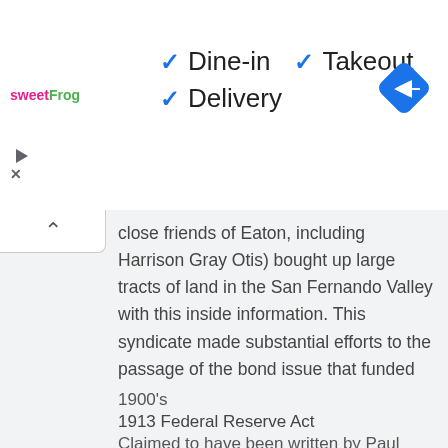[Figure (screenshot): sweetFrog logo with pink and green text]
✓ Dine-in  ✓ Takeout
✓ Delivery
[Figure (other): Blue diamond navigation/directions icon]
close friends of Eaton, including Harrison Gray Otis) bought up large tracts of land in the San Fernando Valley with this inside information. This syndicate made substantial efforts to the passage of the bond issue that funded the aqueduct including creating a false drought (by manipulating rainfall totals) and publishing scare articles in the Los Angeles Times. See California Water Wars.
1900's
1913 Federal Reserve Act
Claimed to have been written by Paul